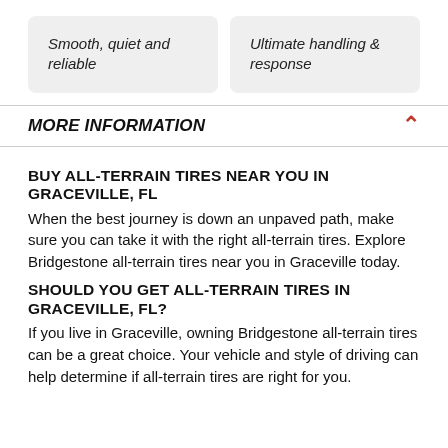Smooth, quiet and reliable
Ultimate handling & response
MORE INFORMATION
BUY ALL-TERRAIN TIRES NEAR YOU IN GRACEVILLE, FL
When the best journey is down an unpaved path, make sure you can take it with the right all-terrain tires. Explore Bridgestone all-terrain tires near you in Graceville today.
SHOULD YOU GET ALL-TERRAIN TIRES IN GRACEVILLE, FL?
If you live in Graceville, owning Bridgestone all-terrain tires can be a great choice. Your vehicle and style of driving can help determine if all-terrain tires are right for you.